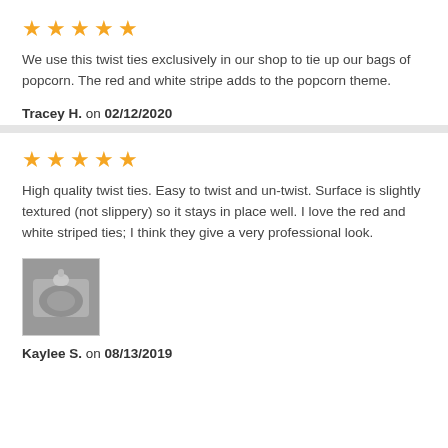[Figure (other): 5 gold stars rating]
We use this twist ties exclusively in our shop to tie up our bags of popcorn. The red and white stripe adds to the popcorn theme.
Tracey H. on 02/12/2020
[Figure (other): 5 gold stars rating]
High quality twist ties. Easy to twist and un-twist. Surface is slightly textured (not slippery) so it stays in place well. I love the red and white striped ties; I think they give a very professional look.
[Figure (photo): Photo of a bag closed with a twist tie]
Kaylee S. on 08/13/2019